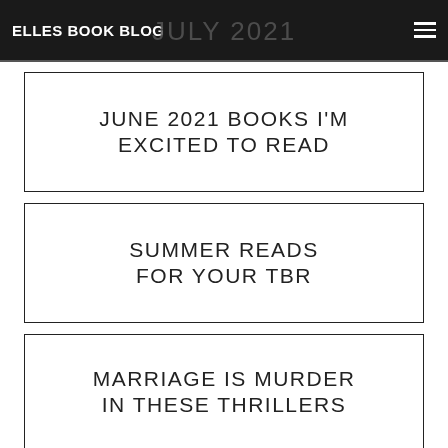ELLES BOOK BLOG | DURING THE MONTH OF: JULY 2021
JUNE 2021 BOOKS I'M EXCITED TO READ
SUMMER READS FOR YOUR TBR
MARRIAGE IS MURDER IN THESE THRILLERS